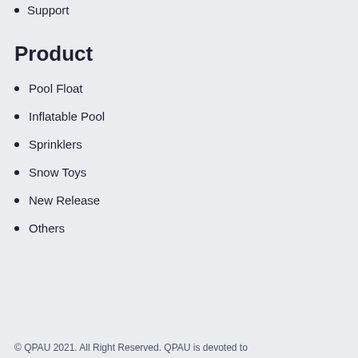Support
Product
Pool Float
Inflatable Pool
Sprinklers
Snow Toys
New Release
Others
© QPAU 2021. All Right Reserved. QPAU is devoted to